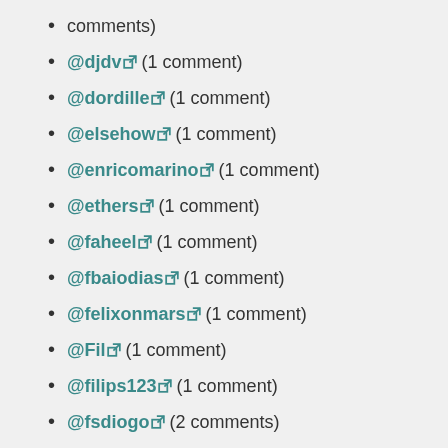comments)
@djdv (1 comment)
@dordille (1 comment)
@elsehow (1 comment)
@enricomarino (1 comment)
@ethers (1 comment)
@faheel (1 comment)
@fbaiodias (1 comment)
@felixonmars (1 comment)
@Fil (1 comment)
@filips123 (1 comment)
@fsdiogo (2 comments)